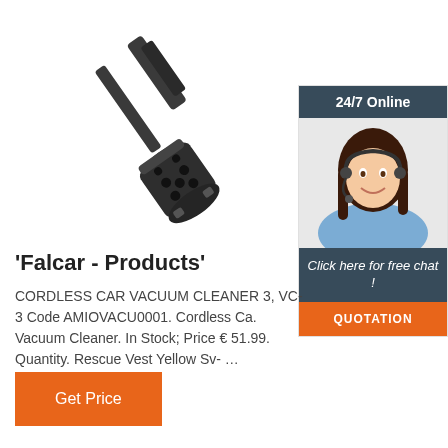[Figure (photo): A black automotive electrical connector plug / trailer socket on a metal rod, photographed at an angle against a white background.]
[Figure (photo): Sidebar widget showing a smiling female customer service agent wearing a headset, with '24/7 Online' header, 'Click here for free chat!' text, and a QUOTATION button.]
'Falcar - Products'
CORDLESS CAR VACUUM CLEANER 3, VC-3 Code AMIOVACU0001. Cordless Ca. Vacuum Cleaner. In Stock; Price € 51.99. Quantity. Rescue Vest Yellow Sv- …
Get Price